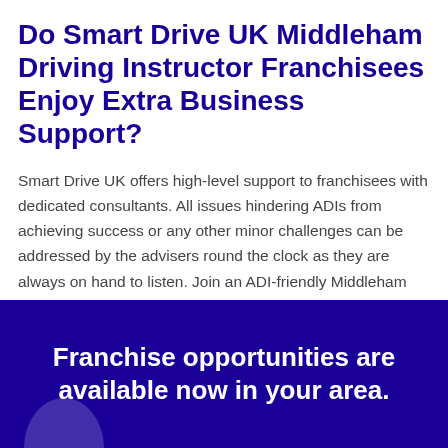Do Smart Drive UK Middleham Driving Instructor Franchisees Enjoy Extra Business Support?
Smart Drive UK offers high-level support to franchisees with dedicated consultants. All issues hindering ADIs from achieving success or any other minor challenges can be addressed by the advisers round the clock as they are always on hand to listen. Join an ADI-friendly Middleham driving instructor franchise today!
Franchise opportunities are available now in your area.